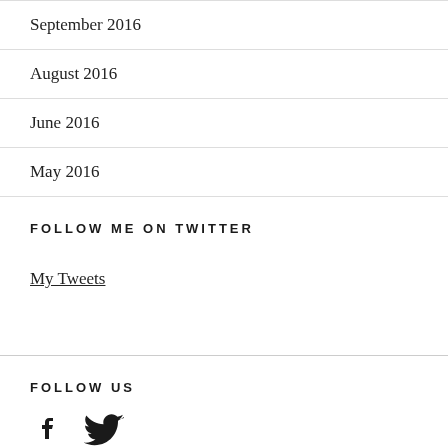September 2016
August 2016
June 2016
May 2016
FOLLOW ME ON TWITTER
My Tweets
FOLLOW US